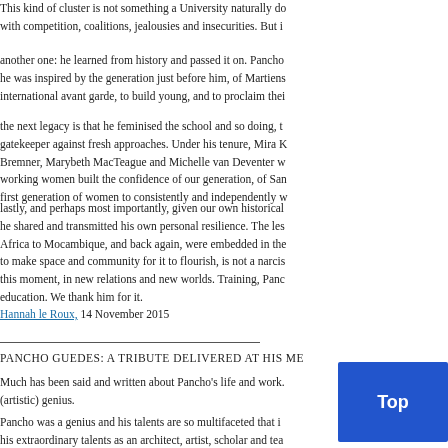This kind of cluster is not something a University naturally do with competition, coalitions, jealousies and insecurities. But i
another one: he learned from history and passed it on. Pancho he was inspired by the generation just before him, of Martiens international avant garde, to build young, and to proclaim thei
the next legacy is that he feminised the school and so doing, t gatekeeper against fresh approaches. Under his tenure, Mira K Bremner, Marybeth MacTeague and Michelle van Deventer w working women built the confidence of our generation, of San first generation of women to consistently and independently w
lastly, and perhaps most importantly, given our own historical he shared and transmitted his own personal resilience. The les Africa to Mocambique, and back again, were embedded in the to make space and community for it to flourish, is not a narcis this moment, in new relations and new worlds. Training, Panc education. We thank him for it.
Hannah le Roux, 14 November 2015
PANCHO GUEDES: A TRIBUTE DELIVERED AT HIS ME
Much has been said and written about Pancho's life and work. (artistic) genius.
Pancho was a genius and his talents are so multifaceted that i his extraordinary talents as an architect, artist, scholar and tea to add a personal note to a discussion about Pancho's life and
When I arrived at Wits, as a newly matriculated student and m end. Wits was small, the number of students only a few thous Block.
My earliest recollection of Pancho was a need to display his superiority in an oste ocious
Pancho's student work was functional and inspired by the Inte